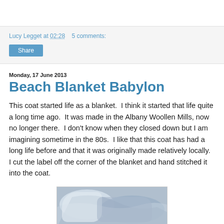Lucy Legget at 02:28    5 comments:
Monday, 17 June 2013
Beach Blanket Babylon
This coat started life as a blanket.  I think it started that life quite a long time ago.  It was made in the Albany Woollen Mills, now no longer there.  I don't know when they closed down but I am imagining sometime in the 80s.  I like that this coat has had a long life before and that it was originally made relatively locally.  I cut the label off the corner of the blanket and hand stitched it into the coat.
[Figure (photo): Close-up photograph of folded blue/grey woolen blanket or coat fabric]